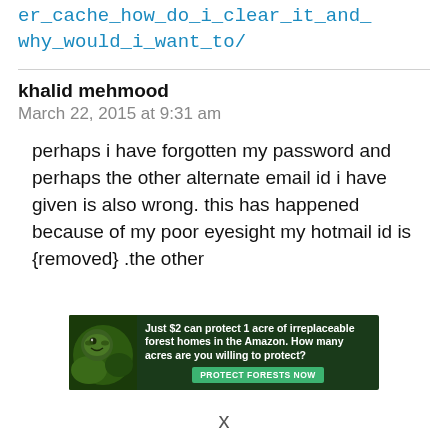er_cache_how_do_i_clear_it_and_why_would_i_want_to/
khalid mehmood
March 22, 2015 at 9:31 am
perhaps i have forgotten my password and perhaps the other alternate email id i have given is also wrong. this has happened because of my poor eyesight my hotmail id is {removed} .the other
[Figure (infographic): Advertisement banner: dark forest background with animal image. Text: 'Just $2 can protect 1 acre of irreplaceable forest homes in the Amazon. How many acres are you willing to protect?' with green button 'PROTECT FORESTS NOW']